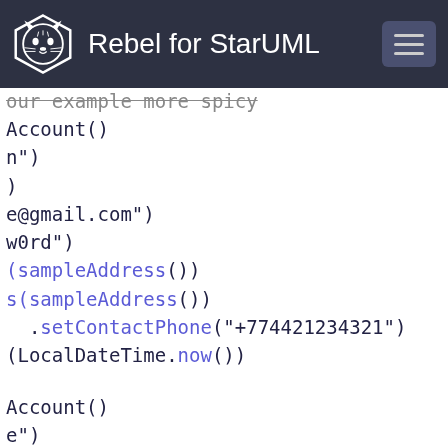Rebel for StarUML
our example more spicy
Account()
n")
)
e@gmail.com")
w0rd")
(sampleAddress())
s(sampleAddress())
  .setContactPhone("+774421234321")
(LocalDateTime.now())
Account()
e")
)
e@gmail.com")
w0rd")
(sampleAddress())
(sampleAddress())